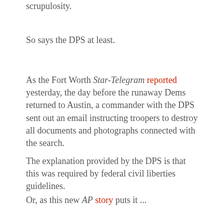scrupulosity.
So says the DPS at least.
As the Fort Worth Star-Telegram reported yesterday, the day before the runaway Dems returned to Austin, a commander with the DPS sent out an email instructing troopers to destroy all documents and photographs connected with the search.
The explanation provided by the DPS is that this was required by federal civil liberties guidelines.
Or, as this new AP story puts it ...